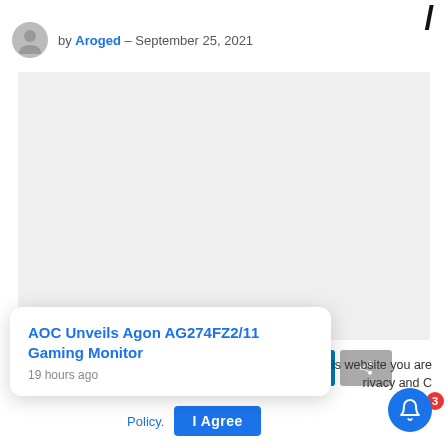/
by Aroged — September 25, 2021
[Figure (photo): Light gray placeholder image block]
0 [share buttons: Facebook, Twitter, Reddit, Telegram, X, LinkedIn, share]
AOC Unveils Agon AG274FZ2/11 Gaming Monitor
19 hours ago
...his website you are ...rivacy and C...
Policy.   I Agree